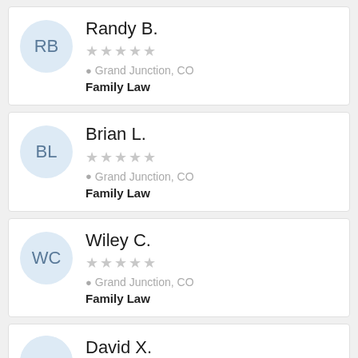RB | Randy B. | ☆☆☆☆☆ | Grand Junction, CO | Family Law
BL | Brian L. | ☆☆☆☆☆ | Grand Junction, CO | Family Law
WC | Wiley C. | ☆☆☆☆☆ | Grand Junction, CO | Family Law
David X. (partial)